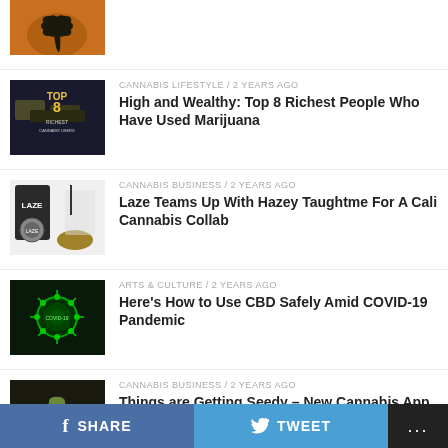[Figure (photo): Cannabis leaf silhouette against orange sunset background — top partial]
[Figure (photo): Dark background with money and text 'Top 8 Richest Cannabis Users']
CANNABIS LIFESTYLE / 2 years ago
High and Wealthy: Top 8 Richest People Who Have Used Marijuana
[Figure (photo): Cannabis products with Laze branding and a figure]
CANNABIS BUSINESS / 2 years ago
Laze Teams Up With Hazey Taughtme For A Cali Cannabis Collab
[Figure (photo): Green glowing COVID-19 virus cells microscopy image]
ARTS & CULTURE / 2 years ago
Here's How to Use CBD Safely Amid COVID-19 Pandemic
[Figure (photo): Cannabis seedling plant in dark setting]
CANNABIS BUSINESS / 2 years ago
Things are Getting Seedy – New Cannabis App Coming Late 2020
SHARE   TWEET   ...